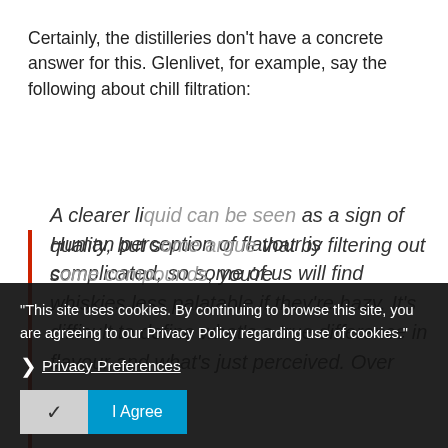Certainly, the distilleries don't have a concrete answer for this. Glenlivet, for example, say the following about chill filtration:
Human perception of flavour is complicated, so some of us will find whiskies less palatable if they're hazy. It's difficult to define what's a true difference in flavour and what's just perceived. Over the time... A clearer liquid can be seen as a sign of quality, but some would argue that by filtering out some compounds, you're
"This site uses cookies. By continuing to browse this site, you are agreeing to our Privacy Policy regarding use of cookies."
Privacy Preferences
I Agree